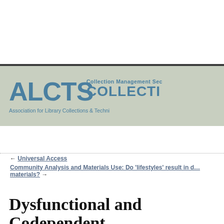[Figure (logo): ALCTS Collection Management Section banner logo. Large text 'ALCTS' on the left, 'Collection Management Sec' and 'COLLECTI' on the right, with 'Association for Library Collections & Techni' below. Light sage green background with dark top border and a faint circular watermark.]
← Universal Access
Community Analysis and Materials Use: Do 'lifestyles' result in different use of library materials? →
Dysfunctional and Codependent